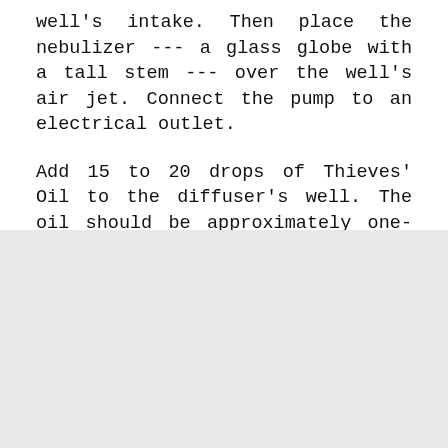well's intake. Then place the nebulizer --- a glass globe with a tall stem --- over the well's air jet. Connect the pump to an electrical outlet.
Add 15 to 20 drops of Thieves' Oil to the diffuser's well. The oil should be approximately one-quarter inch deep.